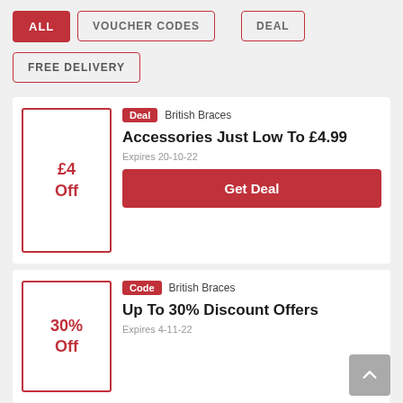ALL
VOUCHER CODES
DEAL
FREE DELIVERY
Deal  British Braces
Accessories Just Low To £4.99
Expires 20-10-22
Get Deal
Code  British Braces
Up To 30% Discount Offers
Expires 4-11-22